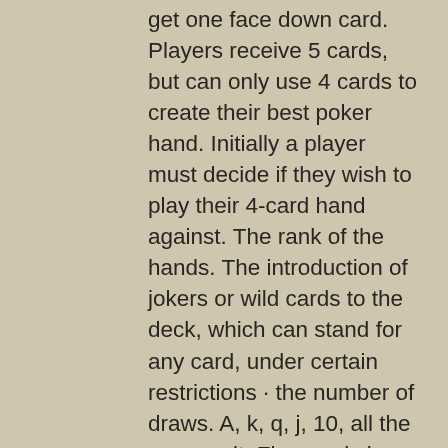get one face down card. Players receive 5 cards, but can only use 4 cards to create their best poker hand. Initially a player must decide if they wish to play their 4-card hand against. The rank of the hands. The introduction of jokers or wild cards to the deck, which can stand for any card, under certain restrictions · the number of draws. A, k, q, j, 10, all the same suit. Five cards in a sequence, all in the same suit. What players will want to try to do when making decisions in five-card draw is keep the basic fundamentals of starting hands, position, and odds in the back of. Learn how to play five card draw poker at the best site for us players. Learn 5 card rules, winning hands and proven strategies using our. You and alexa each have a five card hand from a standard 52 card deck. You can discard and then draw up to four cards to try to improve your hand. Poker is all about making the